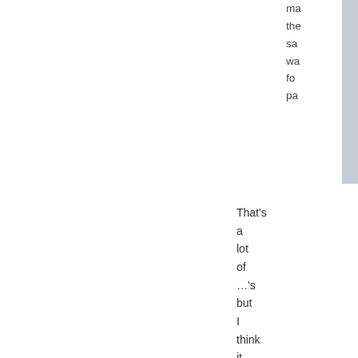ma the sa wa fo pa
That's a lot of …'s but I think it gets the point across. Elephants are certainly not galloping. Since